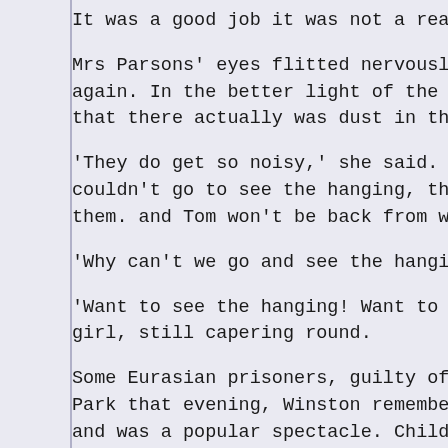It was a good job it was not a real pisto
Mrs Parsons' eyes flitted nervously from again. In the better light of the living- that there actually was dust in the creas
'They do get so noisy,' she said. 'They'r couldn't go to see the hanging, that's wh them. and Tom won't be back from work in
'Why can't we go and see the hanging?' ro
'Want to see the hanging! Want to see the girl, still capering round.
Some Eurasian prisoners, guilty of war cr Park that evening, Winston remembered. Th and was a popular spectacle. Children alu it. He took his leave of Mrs Parsons and